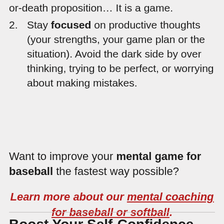or-death proposition… It is a game.
2. Stay focused on productive thoughts (your strengths, your game plan or the situation). Avoid the dark side by over thinking, trying to be perfect, or worrying about making mistakes.
Want to improve your mental game for baseball the fastest way possible?
Learn more about our mental coaching for baseball or softball.
Boost Your Self-Confidence